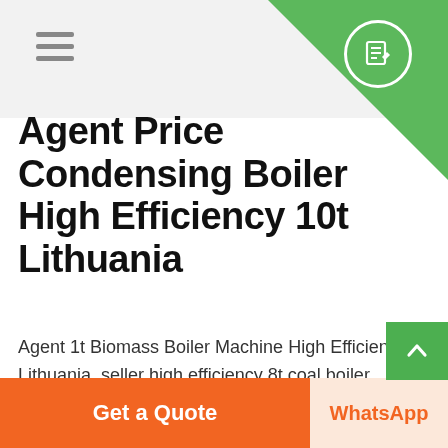Agent Price Condensing Boiler High Efficiency 10t Lithuania
Agent 1t Biomass Boiler Machine High Efficiency Lithuania. seller high efficiency 8t coal boiler vietnam HGT Gyratory Crusher. 6T 1 Ton Boiler Agent Fuel Consumption Steam Boiler . 10 Ton Oil Steam Boiler - cmp-h uk WNS 1t 2t 3t 4t 6t 8t 10t natural gas light. Read More